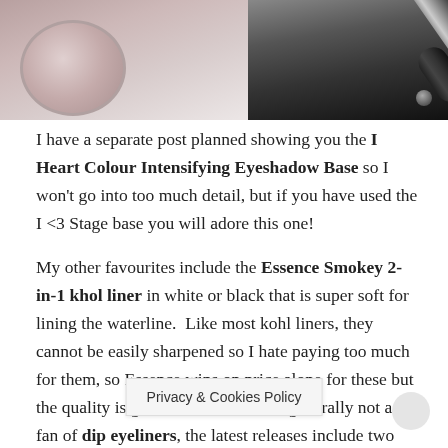[Figure (photo): Product photo showing a makeup compact with a shimmery eyeshadow on the left and a silver/black eyeliner pen on the right, against a white background.]
I have a separate post planned showing you the I Heart Colour Intensifying Eyeshadow Base so I won't go into too much detail, but if you have used the I <3 Stage base you will adore this one!
My other favourites include the Essence Smokey 2-in-1 khol liner in white or black that is super soft for lining the waterline.  Like most kohl liners, they cannot be easily sharpened so I hate paying too much for them, so Essence wins on price alone for these but the quality is great too.  While I am generally not a fan of dip eyeliners, the latest releases include two that have found their way into my makeup bag.  A matte liner and a super soft one.  Both are nice black bla                         h/blue over shadows
Privacy & Cookies Policy